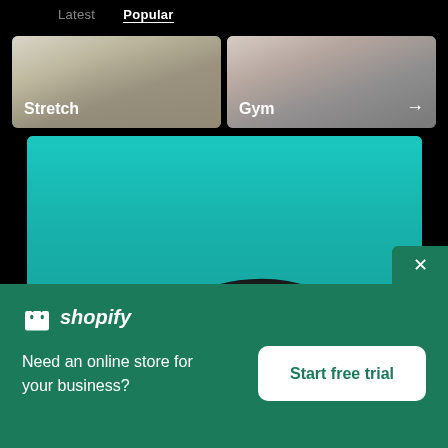Latest  Popular
[Figure (screenshot): Two category thumbnail cards: 'Stretch' showing a person outdoors, and 'Gym' showing a person in a gym with a right arrow]
[Figure (photo): Large teal/turquoise background product photo showing a hand holding a black resistance band or ring]
shopify
Need an online store for your business?
Start free trial